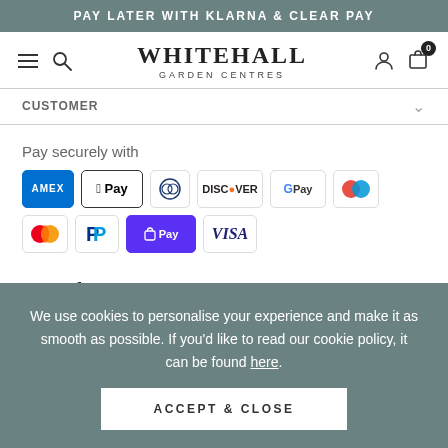PAY LATER WITH KLARNA & CLEAR PAY
[Figure (logo): Whitehall Garden Centres logo with hamburger menu, search icon, person icon, and bag icon with badge 0]
CUSTOMER
Pay securely with
[Figure (infographic): Payment method icons: AMEX, Apple Pay, Diners Club, Discover, Google Pay, Maestro, Mastercard, PayPal, ShopPay, Visa]
Newsletter sign up
We use cookies to personalise your experience and make it as smooth as possible. If you'd like to read our cookie policy, it can be found here.
ACCEPT & CLOSE